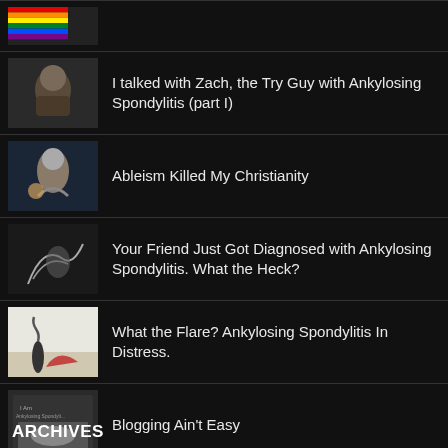I talked with Zach, the Try Guy with Ankylosing Spondylitis (part I)
Ableism Killed My Christianity
Your Friend Just Got Diagnosed with Ankylosing Spondylitis. What the Heck?
What the Flare? Ankylosing Spondylitis In Distress.
Blogging Ain't Easy
27 Gifts for Someone with Ankylosing Spondylitis
ARCHIVES